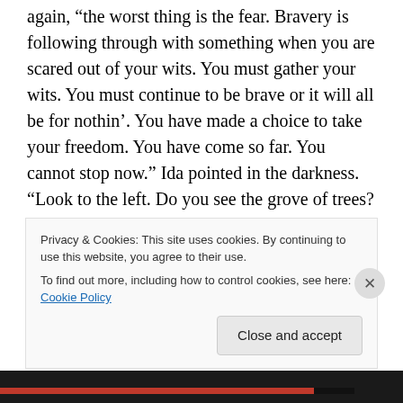again, “the worst thing is the fear. Bravery is following through with something when you are scared out of your wits. You must gather your wits. You must continue to be brave or it will all be for nothin’. You have made a choice to take your freedom. You have come so far. You cannot stop now.” Ida pointed in the darkness. “Look to the left. Do you see the grove of trees? Go there. There will be a stream. Cross over the stream to hide your scent and then follow it north for about five miles. You will see a small abandoned house. You must hide there until tomorrow
Privacy & Cookies: This site uses cookies. By continuing to use this website, you agree to their use.
To find out more, including how to control cookies, see here: Cookie Policy
Close and accept